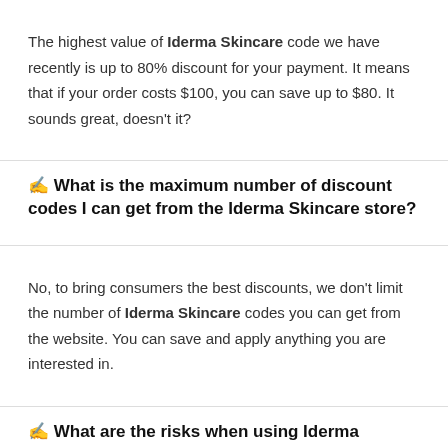The highest value of Iderma Skincare code we have recently is up to 80% discount for your payment. It means that if your order costs $100, you can save up to $80. It sounds great, doesn't it?
✍ What is the maximum number of discount codes I can get from the Iderma Skincare store?
No, to bring consumers the best discounts, we don't limit the number of Iderma Skincare codes you can get from the website. You can save and apply anything you are interested in.
✍ What are the risks when using Iderma Skincare codes?